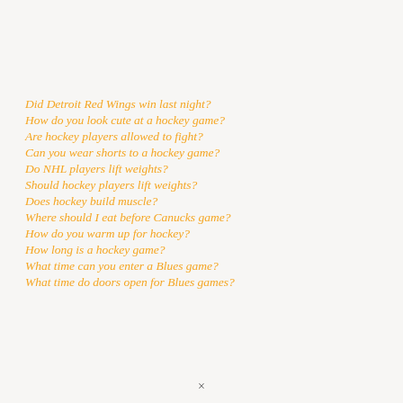Did Detroit Red Wings win last night?
How do you look cute at a hockey game?
Are hockey players allowed to fight?
Can you wear shorts to a hockey game?
Do NHL players lift weights?
Should hockey players lift weights?
Does hockey build muscle?
Where should I eat before Canucks game?
How do you warm up for hockey?
How long is a hockey game?
What time can you enter a Blues game?
What time do doors open for Blues games?
×